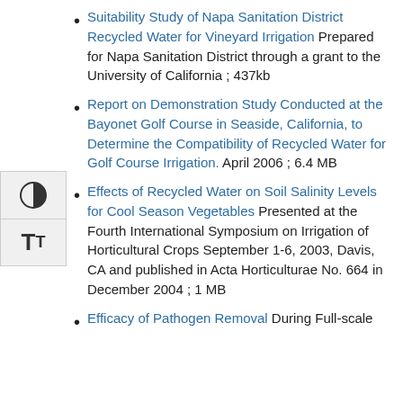Suitability Study of Napa Sanitation District Recycled Water for Vineyard Irrigation Prepared for Napa Sanitation District through a grant to the University of California ; 437kb
Report on Demonstration Study Conducted at the Bayonet Golf Course in Seaside, California, to Determine the Compatibility of Recycled Water for Golf Course Irrigation. April 2006 ; 6.4 MB
Effects of Recycled Water on Soil Salinity Levels for Cool Season Vegetables Presented at the Fourth International Symposium on Irrigation of Horticultural Crops September 1-6, 2003, Davis, CA and published in Acta Horticulturae No. 664 in December 2004 ; 1 MB
Efficacy of Pathogen Removal During Full-scale